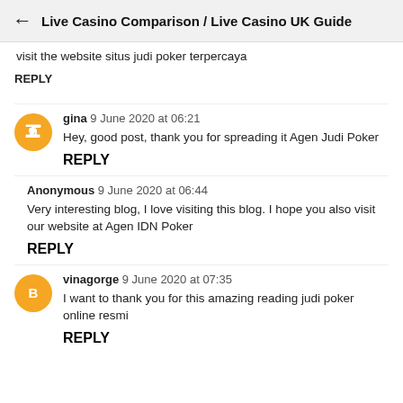← Live Casino Comparison / Live Casino UK Guide
visit the website situs judi poker terpercaya
REPLY
gina 9 June 2020 at 06:21
Hey, good post, thank you for spreading it Agen Judi Poker
REPLY
Anonymous 9 June 2020 at 06:44
Very interesting blog, I love visiting this blog. I hope you also visit our website at Agen IDN Poker
REPLY
vinagorge 9 June 2020 at 07:35
I want to thank you for this amazing reading judi poker online resmi
REPLY